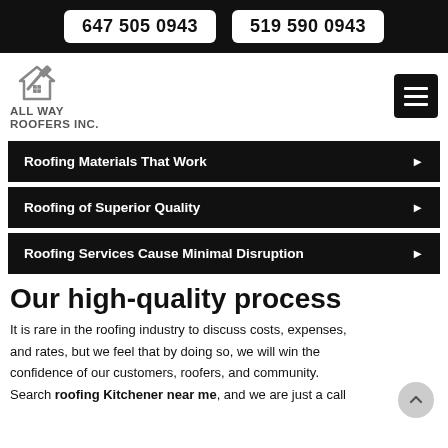647 505 0943   519 590 0943
[Figure (logo): All Way Roofers Inc. logo with hammer and house icon]
Roofing Materials That Work
Roofing of Superior Quality
Roofing Services Cause Minimal Disruption
Our high-quality process
It is rare in the roofing industry to discuss costs, expenses, and rates, but we feel that by doing so, we will win the confidence of our customers, roofers, and community. Search roofing Kitchener near me, and we are just a call